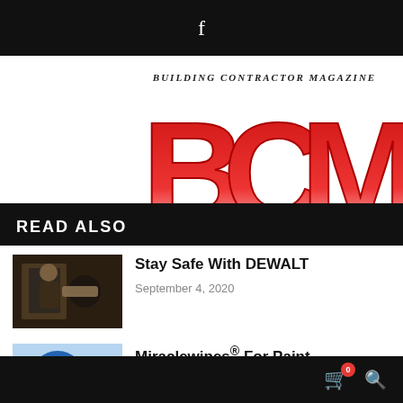f
[Figure (logo): Building Contractor Magazine (BCM) logo with red gradient BCM letters and TRADIES banner]
READ ALSO
[Figure (photo): Worker thumbnail image]
Stay Safe With DEWALT
September 4, 2020
[Figure (photo): Miraclewipes for Paint product thumbnail]
Miraclewipes® For Paint
March 26, 2020
[Figure (photo): Bostik Primesil Designer Silicone product thumbnail]
Bostik Primesil Designer Silicone
June 22, 2017
[Figure (screenshot): Blue Find out more button ad banner with most loved australia text]
Pferd Aluminium Ultra-ti
0